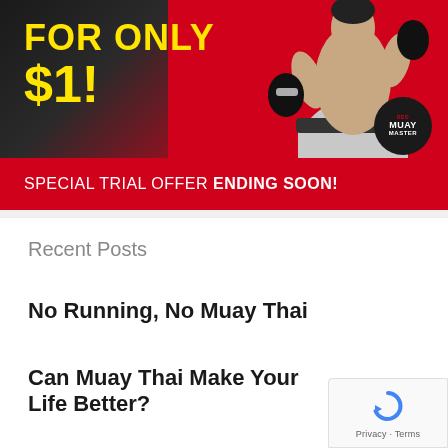[Figure (infographic): Promotional ad banner with red background showing a Muay Thai fighter in silver shorts and boxing gloves. Yellow bold text reads 'FOR ONLY $1!' on dark background. Bottom bar reads 'SPECIAL TRIAL OFFER ENDING SOON!' with a circular Muay Thai logo badge.]
Recent Posts
No Running, No Muay Thai
Can Muay Thai Make Your Life Better?